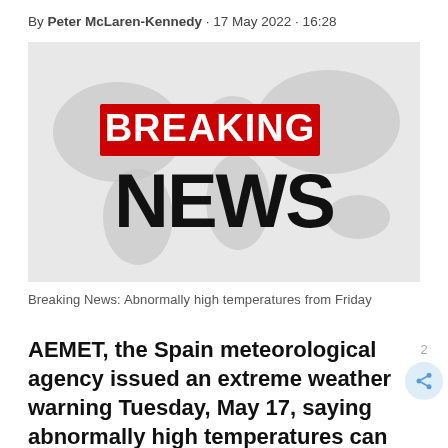By Peter McLaren-Kennedy · 17 May 2022 · 16:28
[Figure (illustration): Breaking News graphic: red banner with white bold text BREAKING and large black bold text NEWS on a grey world map background]
Breaking News: Abnormally high temperatures from Friday
AEMET, the Spain meteorological agency issued an extreme weather warning Tuesday, May 17, saying abnormally high temperatures can be expected from Friday.